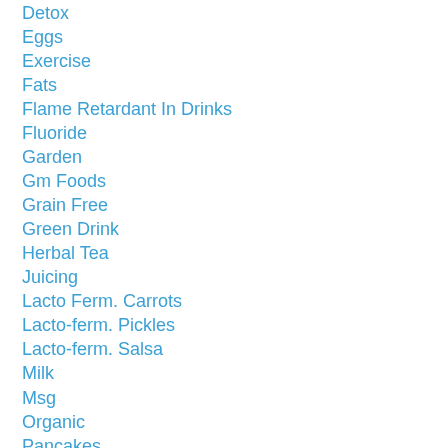Detox
Eggs
Exercise
Fats
Flame Retardant In Drinks
Fluoride
Garden
Gm Foods
Grain Free
Green Drink
Herbal Tea
Juicing
Lacto Ferm. Carrots
Lacto-ferm. Pickles
Lacto-ferm. Salsa
Milk
Msg
Organic
Pancakes
Pet Food
Quinoa